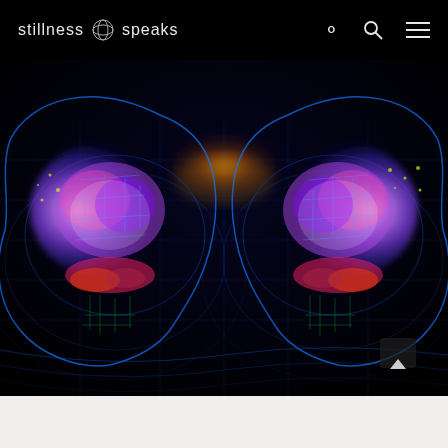stillness speaks
[Figure (illustration): Digital artwork showing two mirrored human head silhouettes facing each other with glowing brains depicted as colorful neural networks with purple, blue, pink and white light patterns. The background is black with blue circuit-like grid lines and orange/yellow light effects in the center between the two heads.]